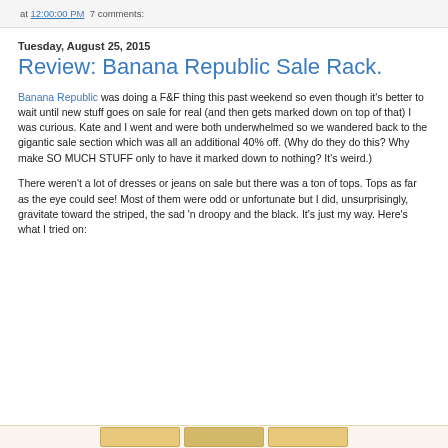at 12:00:00 PM  7 comments:
Tuesday, August 25, 2015
Review: Banana Republic Sale Rack.
Banana Republic was doing a F&F thing this past weekend so even though it's better to wait until new stuff goes on sale for real (and then gets marked down on top of that) I was curious. Kate and I went and were both underwhelmed so we wandered back to the gigantic sale section which was all an additional 40% off. (Why do they do this? Why make SO MUCH STUFF only to have it marked down to nothing? It's weird.)
There weren't a lot of dresses or jeans on sale but there was a ton of tops. Tops as far as the eye could see! Most of them were odd or unfortunate but I did, unsurprisingly, gravitate toward the striped, the sad 'n droopy and the black. It's just my way. Here's what I tried on:
[Figure (photo): Partial view of clothing thumbnail images at the bottom of the page]